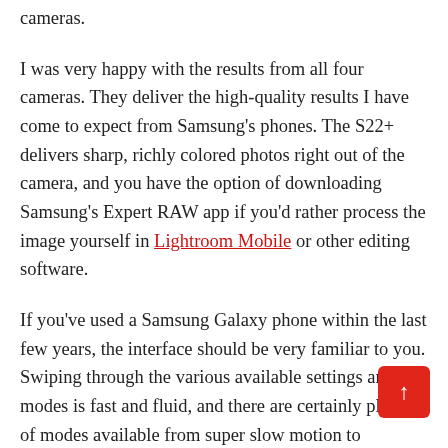cameras.
I was very happy with the results from all four cameras. They deliver the high-quality results I have come to expect from Samsung's phones. The S22+ delivers sharp, richly colored photos right out of the camera, and you have the option of downloading Samsung's Expert RAW app if you'd rather process the image yourself in Lightroom Mobile or other editing software.
If you've used a Samsung Galaxy phone within the last few years, the interface should be very familiar to you. Swiping through the various available settings and modes is fast and fluid, and there are certainly plenty of modes available from super slow motion to panoramic and timelapse.